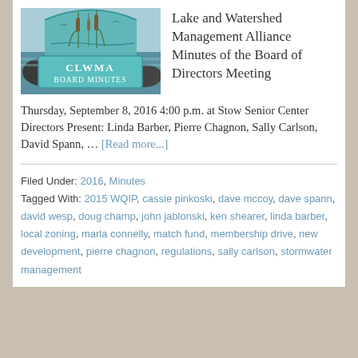[Figure (logo): CLWMA Board Minutes logo — teal arch with cattails and water scene, text 'CLWMA Board Minutes' inside arch]
Lake and Watershed Management Alliance Minutes of the Board of Directors Meeting
Thursday, September 8, 2016 4:00 p.m. at Stow Senior Center   Directors Present: Linda Barber, Pierre Chagnon, Sally Carlson, David Spann, … [Read more...]
Filed Under: 2016, Minutes
Tagged With: 2015 WQIP, cassie pinkoski, dave mccoy, dave spann, david wesp, doug champ, john jablonski, ken shearer, linda barber, local zoning, marla connelly, match fund, membership drive, new development, pierre chagnon, regulations, sally carlson, stormwater management